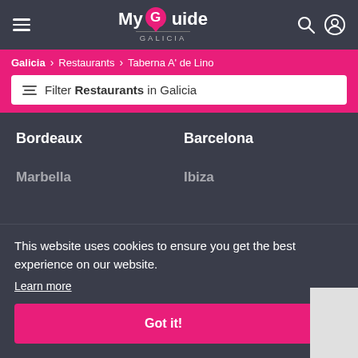My Guide Galicia
Galicia > Restaurants > Taberna A' de Lino
Filter Restaurants in Galicia
Bordeaux
Barcelona
Marbella
Ibiza
This website uses cookies to ensure you get the best experience on our website.
Learn more
Got it!